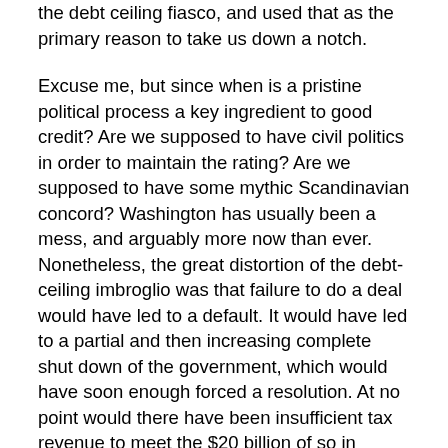the debt ceiling fiasco, and used that as the primary reason to take us down a notch.
Excuse me, but since when is a pristine political process a key ingredient to good credit? Are we supposed to have civil politics in order to maintain the rating? Are we supposed to have some mythic Scandinavian concord? Washington has usually been a mess, and arguably more now than ever. Nonetheless, the great distortion of the debt-ceiling imbroglio was that failure to do a deal would have led to a default. It would have led to a partial and then increasing complete shut down of the government, which would have soon enough forced a resolution. At no point would there have been insufficient tax revenue to meet the $20 billion of so in monthly interest payments on the debt, unless the crisis had gone on for months and months, which barring collective national psychosis simply